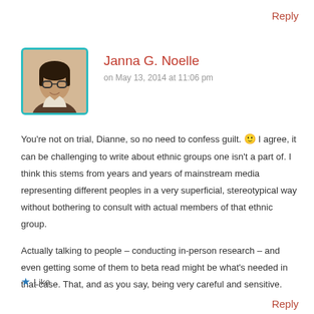Reply
[Figure (photo): Profile photo of Janna G. Noelle — a woman with braided hair and glasses, smiling, with a teal/turquoise border frame]
Janna G. Noelle
on May 13, 2014 at 11:06 pm
You're not on trial, Dianne, so no need to confess guilt. 🙂 I agree, it can be challenging to write about ethnic groups one isn't a part of. I think this stems from years and years of mainstream media representing different peoples in a very superficial, stereotypical way without bothering to consult with actual members of that ethnic group.
Actually talking to people – conducting in-person research – and even getting some of them to beta read might be what's needed in that case. That, and as you say, being very careful and sensitive.
★ Like
Reply